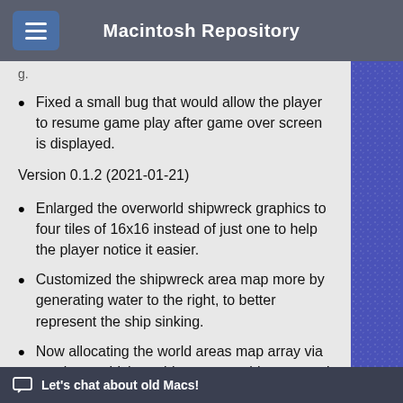Macintosh Repository
Fixed a small bug that would allow the player to resume game play after game over screen is displayed.
Version 0.1.2 (2021-01-21)
Enlarged the overworld shipwreck graphics to four tiles of 16x16 instead of just one to help the player notice it easier.
Customized the shipwreck area map more by generating water to the right, to better represent the ship sinking.
Now allocating the world areas map array via a pointer, which enables an even bigger array! (no more 32KB stack limit)
The world are...
Let's chat about old Macs!